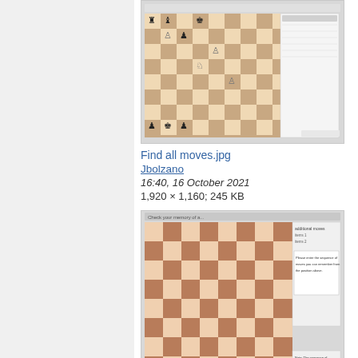[Figure (screenshot): Screenshot of a chess game application showing a chess board with pieces mid-game, with a move list panel on the right side.]
Find all moves.jpg
Jbolzano
16:40, 16 October 2021
1,920 × 1,160; 245 KB
[Figure (screenshot): Screenshot of a chess game application showing an empty or starting chess board with a dialog/message panel on the right side.]
Check your memory o...
Jbolzano
16:34, 16 October 2021
938 × 660; 106 KB